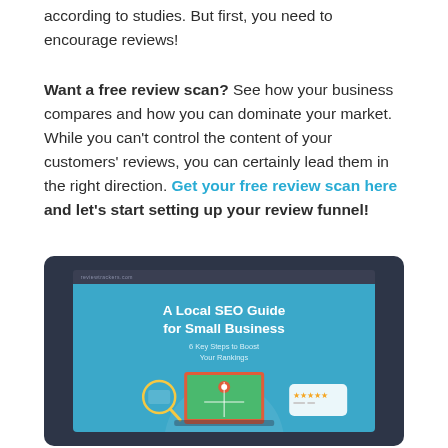according to studies. But first, you need to encourage reviews!
Want a free review scan? See how your business compares and how you can dominate your market. While you can't control the content of your customers' reviews, you can certainly lead them in the right direction. Get your free review scan here and let's start setting up your review funnel!
[Figure (illustration): Screenshot of a guide cover titled 'A Local SEO Guide for Small Business - 6 Key Steps to Boost Your Rankings' shown in a dark-colored monitor/browser frame with teal/blue background and SEO-related graphics at the bottom.]